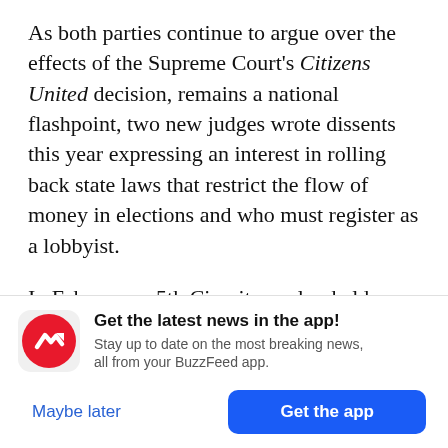As both parties continue to argue over the effects of the Supreme Court's Citizens United decision, remains a national flashpoint, two new judges wrote dissents this year expressing an interest in rolling back state laws that restrict the flow of money in elections and who must register as a lobbyist.
In February, a 5th Circuit panel upheld a campaign contribution limit imposed by the city of Austin, Texas. In April, a majority of judges on the court
[Figure (other): BuzzFeed app promotion banner with red circular BuzzFeed logo (white arrow), bold text 'Get the latest news in the app!', subtext 'Stay up to date on the most breaking news, all from your BuzzFeed app.', and two buttons: 'Maybe later' (blue text) and 'Get the app' (blue button).]